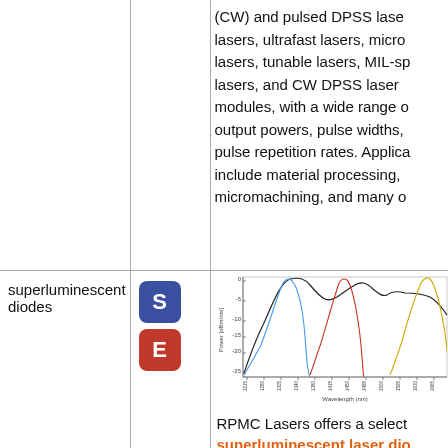| Category | Badges | Description |
| --- | --- | --- |
|  |  | (CW) and pulsed DPSS lasers, lasers, ultrafast lasers, micro lasers, tunable lasers, MIL-sp lasers, and CW DPSS laser modules, with a wide range of output powers, pulse widths, pulse repetition rates. Applications include material processing, micromachining, and many o |
| superluminescent diodes | S E | [chart] RPMC Lasers offers a select superluminescent laser diodes |
[Figure (continuous-plot): Line chart showing power (dBm/nm) vs Wavelength (nm) for superluminescent laser diodes, with multiple overlapping spectral curves in black, blue, red, and yellow/gold colors. Y-axis from 0 to -25 dBm/nm, wavelength range roughly 1215 to 1665 nm.]
RPMC Lasers offers a select superluminescent laser diodes